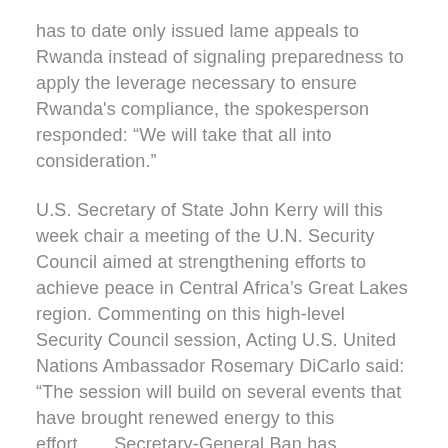has to date only issued lame appeals to Rwanda instead of signaling preparedness to apply the leverage necessary to ensure Rwanda's compliance, the spokesperson responded: “We will take that all into consideration.”
U.S. Secretary of State John Kerry will this week chair a meeting of the U.N. Security Council aimed at strengthening efforts to achieve peace in Central Africa’s Great Lakes region. Commenting on this high-level Security Council session, Acting U.S. United Nations Ambassador Rosemary DiCarlo said:
“The session will build on several events that have brought renewed energy to this effort……Secretary-General Ban has accepted our invitation to brief, as has World Bank President [Jim] Kim. [U.N.]Special Envoy Mary Robinson and high-level representatives from the Democratic